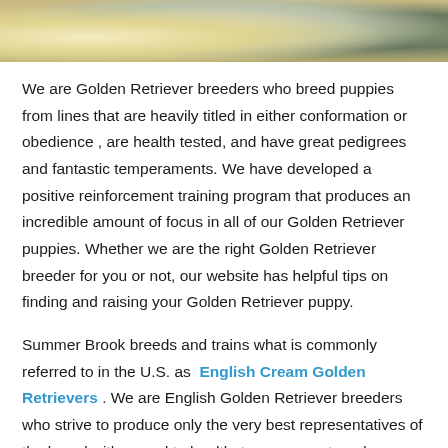[Figure (photo): Close-up photo of a light-colored Golden Retriever dog with soft fur, alongside some dark green grass or foliage on the right side.]
We are Golden Retriever breeders who breed puppies from lines that are heavily titled in either conformation or obedience , are health tested, and have great pedigrees and fantastic temperaments. We have developed a positive reinforcement training program that produces an incredible amount of focus in all of our Golden Retriever puppies. Whether we are the right Golden Retriever breeder for you or not, our website has helpful tips on finding and raising your Golden Retriever puppy.
Summer Brook breeds and trains what is commonly referred to in the U.S. as English Cream Golden Retrievers . We are English Golden Retriever breeders who strive to produce only the very best representatives of the breed with regard to health, temperament, and appearance. Our adult dogs are all